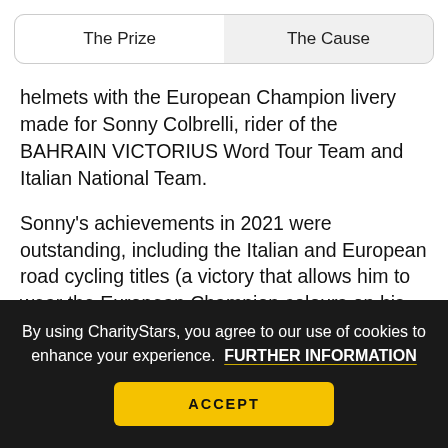| The Prize | The Cause |
| --- | --- |
helmets with the European Champion livery made for Sonny Colbrelli, rider of the BAHRAIN VICTORIUS Word Tour Team and Italian National Team.
Sonny's achievements in 2021 were outstanding, including the Italian and European road cycling titles (a victory that allows him to wear the European Champion colours on his helmet) and most recently the prestigious victory at the Paris Roubaix
By using CharityStars, you agree to our use of cookies to enhance your experience.  FURTHER INFORMATION
ACCEPT